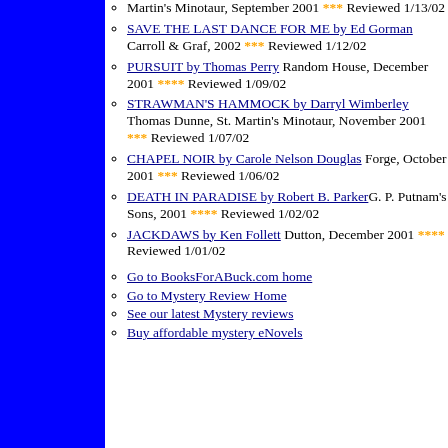Martin's Minotaur, September 2001 *** Reviewed 1/13/02
SAVE THE LAST DANCE FOR ME by Ed Gorman Carroll & Graf, 2002 *** Reviewed 1/12/02
PURSUIT by Thomas Perry Random House, December 2001 **** Reviewed 1/09/02
STRAWMAN'S HAMMOCK by Darryl Wimberley Thomas Dunne, St. Martin's Minotaur, November 2001 *** Reviewed 1/07/02
CHAPEL NOIR by Carole Nelson Douglas Forge, October 2001 *** Reviewed 1/06/02
DEATH IN PARADISE by Robert B. Parker G. P. Putnam's Sons, 2001 **** Reviewed 1/02/02
JACKDAWS by Ken Follett Dutton, December 2001 **** Reviewed 1/01/02
Go to BooksForABuck.com home
Go to Mystery Review Home
See our latest Mystery reviews
Buy affordable mystery eNovels